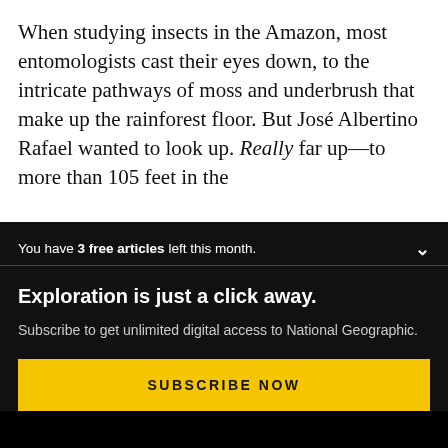When studying insects in the Amazon, most entomologists cast their eyes down, to the intricate pathways of moss and underbrush that make up the rainforest floor. But José Albertino Rafael wanted to look up. Really far up—to more than 105 feet in the
You have 3 free articles left this month.
Exploration is just a click away.
Subscribe to get unlimited digital access to National Geographic.
SUBSCRIBE NOW